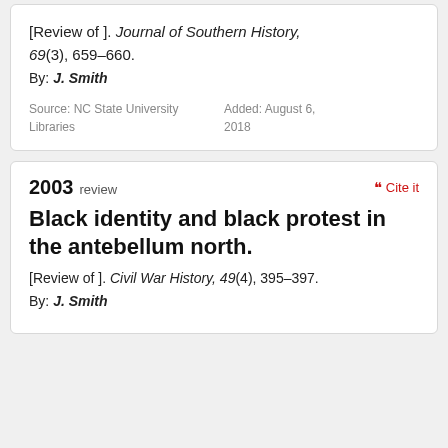[Review of ]. Journal of Southern History, 69(3), 659–660.
By: J. Smith
Source: NC State University Libraries
Added: August 6, 2018
2003 review
Black identity and black protest in the antebellum north.
[Review of ]. Civil War History, 49(4), 395–397.
By: J. Smith